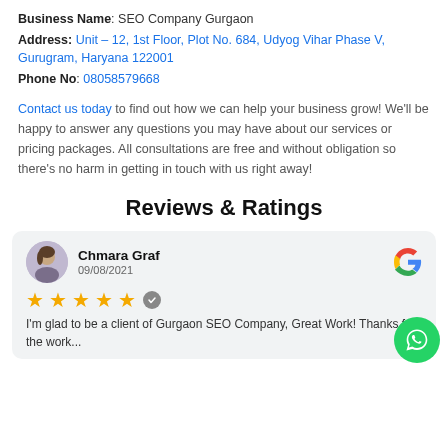Business Name: SEO Company Gurgaon
Address: Unit – 12, 1st Floor, Plot No. 684, Udyog Vihar Phase V, Gurugram, Haryana 122001
Phone No: 08058579668
Contact us today to find out how we can help your business grow! We'll be happy to answer any questions you may have about our services or pricing packages. All consultations are free and without obligation so there's no harm in getting in touch with us right away!
Reviews & Ratings
Chmara Graf
09/08/2021
★★★★★
I'm glad to be a client of Gurgaon SEO Company, Great Work! Thanks for the work...